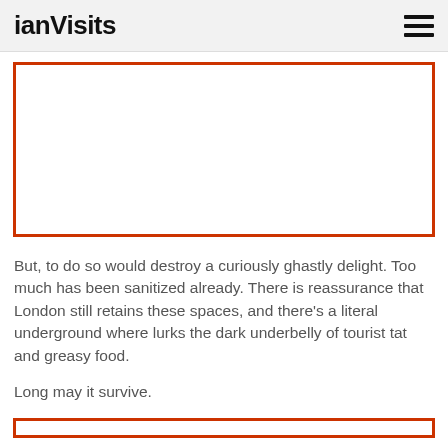ianVisits
[Figure (photo): Image placeholder with orange/red border, white interior]
But, to do so would destroy a curiously ghastly delight. Too much has been sanitized already. There is reassurance that London still retains these spaces, and there's a literal underground where lurks the dark underbelly of tourist tat and greasy food.

Long may it survive.
[Figure (photo): Partial image placeholder with orange/red border at bottom of page]